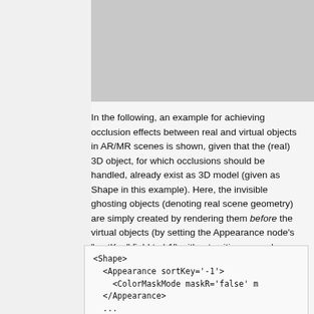[Figure (other): Gray image or figure placeholder at the top right of the page]
In the following, an example for achieving occlusion effects between real and virtual objects in AR/MR scenes is shown, given that the (real) 3D object, for which occlusions should be handled, already exist as 3D model (given as Shape in this example). Here, the invisible ghosting objects (denoting real scene geometry) are simply created by rendering them before the virtual objects (by setting the Appearance node's "sortKey" field to '-1') without writing any color values to the framebuffer (via the ColorMaskMode node) to initially stamp out the depth buffer.
<Shape>
  <Appearance sortKey='-1'>
    <ColorMaskMode maskR='false' m
  </Appearance>
  ...